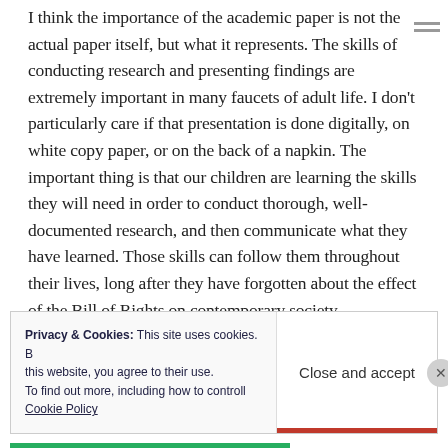I think the importance of the academic paper is not the actual paper itself, but what it represents. The skills of conducting research and presenting findings are extremely important in many faucets of adult life. I don't particularly care if that presentation is done digitally, on white copy paper, or on the back of a napkin. The important thing is that our children are learning the skills they will need in order to conduct thorough, well-documented research, and then communicate what they have learned. Those skills can follow them throughout their lives, long after they have forgotten about the effect of the Bill of Rights on contemporary society.
Privacy & Cookies: This site uses cookies. By continuing to use this website, you agree to their use. To find out more, including how to control cookies, see here: Cookie Policy